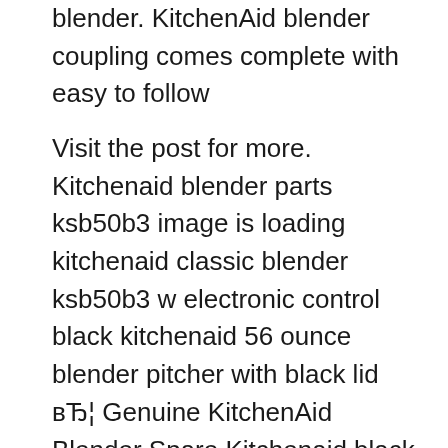blender. KitchenAid blender coupling comes complete with easy to follow
Visit the post for more. Kitchenaid blender parts ksb50b3 image is loading kitchenaid classic blender ksb50b3 w electronic control black kitchenaid 56 ounce blender pitcher with black lid вЂ¦ Genuine KitchenAid Blender Spare Kitchenaid black rubber pronged / finger coupler part that fits on top of blender motor shaft. New improved KitchenAid blender drive coupling, KitchenAid have used a harder rubber material for this coupling, hopefully this should last longer, fits all types of KitchenAid blender. KitchenAid blender coupling comes complete with easy to follow